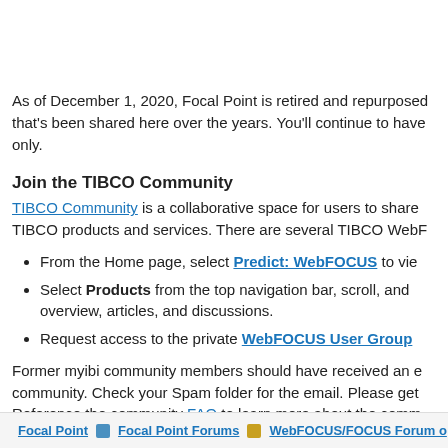As of December 1, 2020, Focal Point is retired and repurposed that's been shared here over the years. You'll continue to have only.
Join the TIBCO Community
TIBCO Community is a collaborative space for users to share TIBCO products and services. There are several TIBCO WebF
From the Home page, select Predict: WebFOCUS to vie
Select Products from the top navigation bar, scroll, and overview, articles, and discussions.
Request access to the private WebFOCUS User Group
Former myibi community members should have received an e community. Check your Spam folder for the email. Please get Reference the community FAQ to learn more about the comm
Focal Point | Focal Point Forums | WebFOCUS/FOCUS Forum o